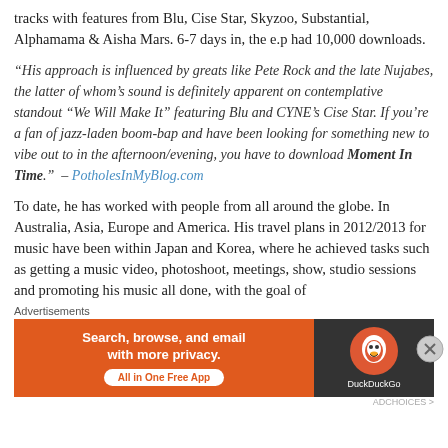tracks with features from Blu, Cise Star, Skyzoo, Substantial, Alphamama & Aisha Mars. 6-7 days in, the e.p had 10,000 downloads.
“His approach is influenced by greats like Pete Rock and the late Nujabes, the latter of whom’s sound is definitely apparent on contemplative standout “We Will Make It” featuring Blu and CYNE’s Cise Star. If you’re a fan of jazz-laden boom-bap and have been looking for something new to vibe out to in the afternoon/evening, you have to download Moment In Time.” – PotholesInMyBlog.com
To date, he has worked with people from all around the globe. In Australia, Asia, Europe and America. His travel plans in 2012/2013 for music have been within Japan and Korea, where he achieved tasks such as getting a music video, photoshoot, meetings, show, studio sessions and promoting his music all done, with the goal of
Advertisements
[Figure (other): DuckDuckGo advertisement banner: orange background on left with text 'Search, browse, and email with more privacy. All in One Free App', dark background on right with DuckDuckGo logo and duck icon.]